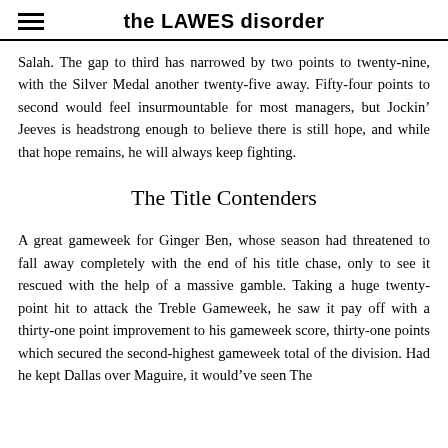the LAWES disorder
Salah. The gap to third has narrowed by two points to twenty-nine, with the Silver Medal another twenty-five away. Fifty-four points to second would feel insurmountable for most managers, but Jockin’ Jeeves is headstrong enough to believe there is still hope, and while that hope remains, he will always keep fighting.
The Title Contenders
A great gameweek for Ginger Ben, whose season had threatened to fall away completely with the end of his title chase, only to see it rescued with the help of a massive gamble. Taking a huge twenty-point hit to attack the Treble Gameweek, he saw it pay off with a thirty-one point improvement to his gameweek score, thirty-one points which secured the second-highest gameweek total of the division. Had he kept Dallas over Maguire, it would’ve seen The